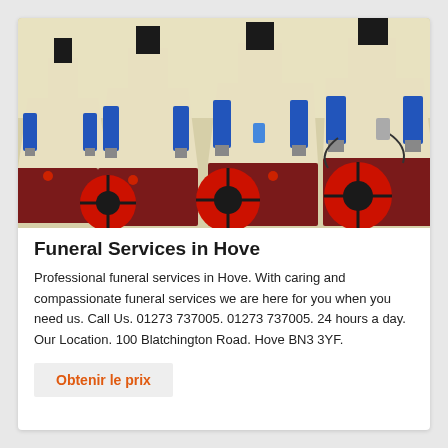[Figure (photo): Industrial machinery — multiple cone crushers in a row with blue hydraulic cylinders, red flywheels, and cream-colored bodies on red steel frames in a factory setting.]
Funeral Services in Hove
Professional funeral services in Hove. With caring and compassionate funeral services we are here for you when you need us. Call Us. 01273 737005. 01273 737005. 24 hours a day. Our Location. 100 Blatchington Road. Hove BN3 3YF.
Obtenir le prix